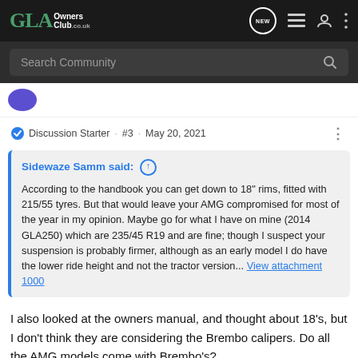GLA Owners Club.co.uk
Search Community
Discussion Starter · #3 · May 20, 2021
Sidewaze Samm said: According to the handbook you can get down to 18" rims, fitted with 215/55 tyres. But that would leave your AMG compromised for most of the year in my opinion. Maybe go for what I have on mine (2014 GLA250) which are 235/45 R19 and are fine; though I suspect your suspension is probably firmer, although as an early model I do have the lower ride height and not the tractor version... View attachment 1000
I also looked at the owners manual, and thought about 18's, but I don't think they are considering the Brembo calipers. Do all the AMG models come with Brembo's?